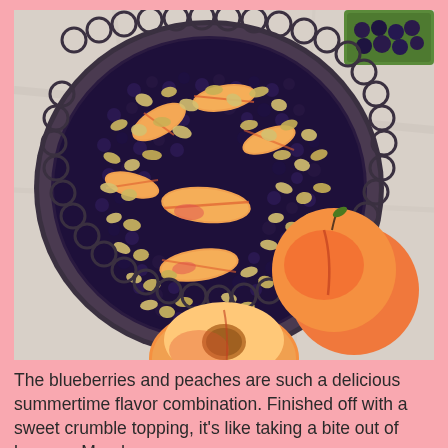[Figure (photo): Overhead photo of a round tart pan filled with blueberries, peach slices, and a crumble topping, set on a marble surface. Fresh whole peaches and a container of blueberries are visible around the tart.]
The blueberries and peaches are such a delicious summertime flavor combination. Finished off with a sweet crumble topping, it's like taking a bite out of heaven. Monday